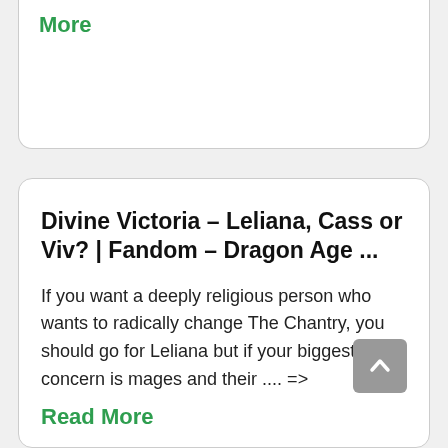More
Divine Victoria – Leliana, Cass or Viv? | Fandom – Dragon Age ...
If you want a deeply religious person who wants to radically change The Chantry, you should go for Leliana but if your biggest concern is mages and their .... =>
Read More